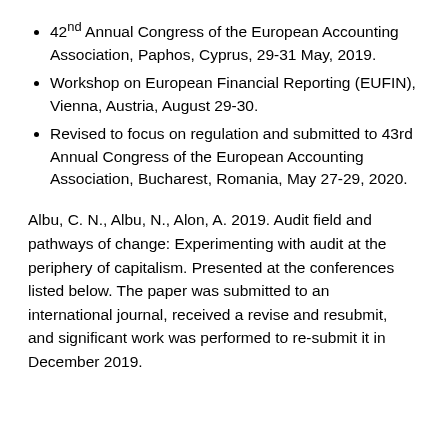42nd Annual Congress of the European Accounting Association, Paphos, Cyprus, 29-31 May, 2019.
Workshop on European Financial Reporting (EUFIN), Vienna, Austria, August 29-30.
Revised to focus on regulation and submitted to 43rd Annual Congress of the European Accounting Association, Bucharest, Romania, May 27-29, 2020.
Albu, C. N., Albu, N., Alon, A. 2019. Audit field and pathways of change: Experimenting with audit at the periphery of capitalism. Presented at the conferences listed below. The paper was submitted to an international journal, received a revise and resubmit, and significant work was performed to re-submit it in December 2019.